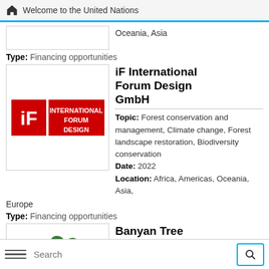Welcome to the United Nations
Oceania, Asia
Type: Financing opportunities
[Figure (logo): iF International Forum Design GmbH logo — red square with white 'iF' letters, red rectangle with white text 'INTERNATIONAL FORUM DESIGN']
iF International Forum Design GmbH
Topic: Forest conservation and management, Climate change, Forest landscape restoration, Biodiversity conservation
Date: 2022
Location: Africa, Americas, Oceania, Asia, Europe
Type: Financing opportunities
[Figure (logo): Banyan Tree Global Foundation logo — green tree/leaf illustration]
Banyan Tree Global Foundation